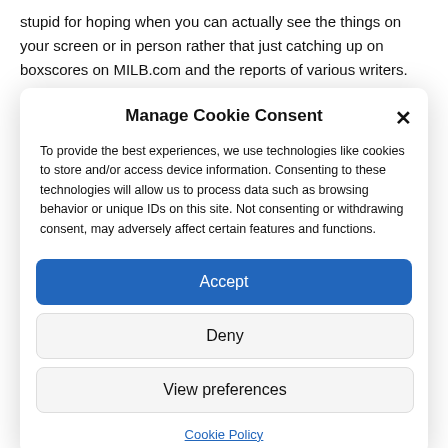stupid for hoping when you can actually see the things on your screen or in person rather that just catching up on boxscores on MILB.com and the reports of various writers.
Manage Cookie Consent
To provide the best experiences, we use technologies like cookies to store and/or access device information. Consenting to these technologies will allow us to process data such as browsing behavior or unique IDs on this site. Not consenting or withdrawing consent, may adversely affect certain features and functions.
Accept
Deny
View preferences
Cookie Policy